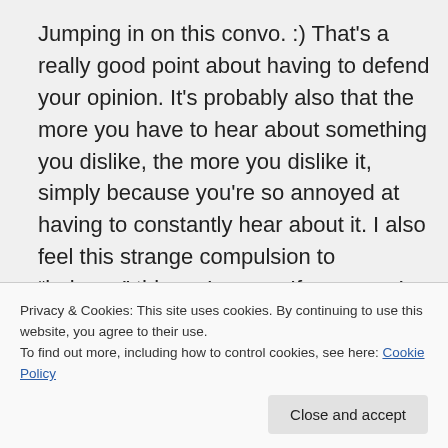Jumping in on this convo. :) That's a really good point about having to defend your opinion. It's probably also that the more you have to hear about something you dislike, the more you dislike it, simply because you're so annoyed at having to constantly hear about it. I also feel this strange compulsion to “balance” things, I guess. If everyone’s
Privacy & Cookies: This site uses cookies. By continuing to use this website, you agree to their use.
To find out more, including how to control cookies, see here: Cookie Policy
Close and accept